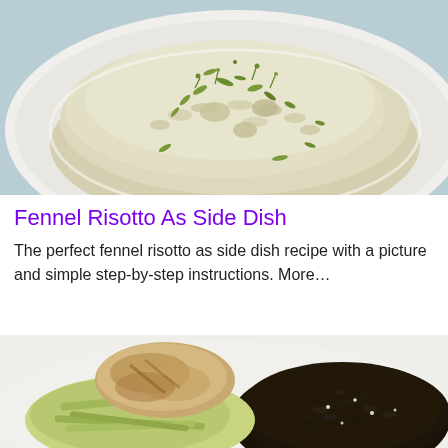[Figure (photo): Close-up photo of fennel risotto on a white plate, garnished with fresh fennel fronds and herbs, light blue background visible]
Fennel Risotto As Side Dish
The perfect fennel risotto as side dish recipe with a picture and simple step-by-step instructions. More…
[Figure (photo): Close-up photo of black rice (forbidden rice) on a white plate alongside braised fennel and a piece of grilled meat/chicken]